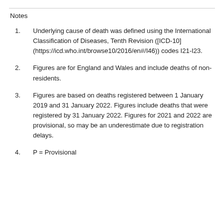Notes
Underlying cause of death was defined using the International Classification of Diseases, Tenth Revision ([ICD-10](https://icd.who.int/browse10/2016/en#/I46)) codes I21-I23.
Figures are for England and Wales and include deaths of non-residents.
Figures are based on deaths registered between 1 January 2019 and 31 January 2022. Figures include deaths that were registered by 31 January 2022. Figures for 2021 and 2022 are provisional, so may be an underestimate due to registration delays.
P = Provisional